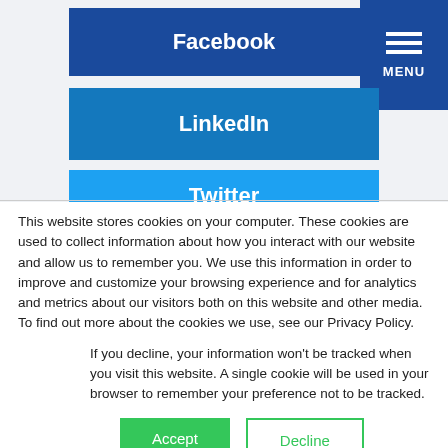[Figure (other): Facebook social media button - dark blue rectangular button with white bold text 'Facebook']
[Figure (other): Menu icon - dark blue square button with three white horizontal lines and 'MENU' text below]
[Figure (other): LinkedIn social media button - medium blue rectangular button with white bold text 'LinkedIn']
[Figure (other): Twitter social media button - light blue rectangular button with white bold text 'Twitter']
This website stores cookies on your computer. These cookies are used to collect information about how you interact with our website and allow us to remember you. We use this information in order to improve and customize your browsing experience and for analytics and metrics about our visitors both on this website and other media. To find out more about the cookies we use, see our Privacy Policy.
If you decline, your information won't be tracked when you visit this website. A single cookie will be used in your browser to remember your preference not to be tracked.
Accept
Decline